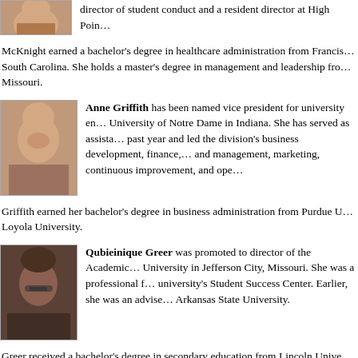[Figure (photo): Partial photo of a woman at the top of the page]
director of student conduct and a resident director at High Point…
McKnight earned a bachelor's degree in healthcare administration from Francis… South Carolina. She holds a master's degree in management and leadership from… Missouri.
[Figure (photo): Headshot of Anne Griffith, a woman with brown hair]
Anne Griffith has been named vice president for university en… University of Notre Dame in Indiana. She has served as assista… past year and led the division's business development, finance,… and management, marketing, continuous improvement, and ope…
Griffith earned her bachelor's degree in business administration from Purdue U… Loyola University.
[Figure (photo): Headshot of Qubieinique Greer, a woman with glasses and natural hair]
Qubieinique Greer was promoted to director of the Academic… University in Jefferson City, Missouri. She was a professional f… university's Student Success Center. Earlier, she was an advise… Arkansas State University.
Greer received a bachelor's degree in secondary education from Lincoln Unive… degree in student affairs and higher education administration from Northwester… Natchitoches, Louisiana.